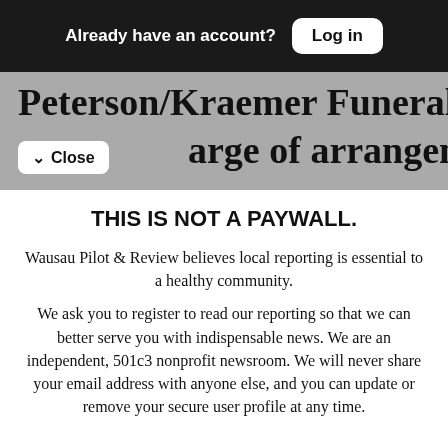Already have an account? Log in
Peterson/Kraemer Funeral Home, Marathon arge of arrangements. Online
THIS IS NOT A PAYWALL.
Wausau Pilot & Review believes local reporting is essential to a healthy community.
We ask you to register to read our reporting so that we can better serve you with indispensable news. We are an independent, 501c3 nonprofit newsroom. We will never share your email address with anyone else, and you can update or remove your secure user profile at any time.